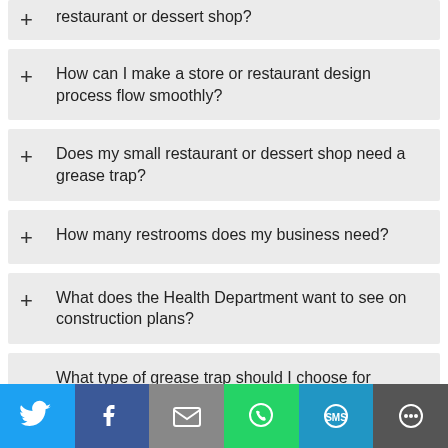+ restaurant or dessert shop?
+ How can I make a store or restaurant design process flow smoothly?
+ Does my small restaurant or dessert shop need a grease trap?
+ How many restrooms does my business need?
+ What does the Health Department want to see on construction plans?
+ What type of grease trap should I choose for
[Figure (infographic): Social media sharing bar with Twitter, Facebook, Email, WhatsApp, SMS, and More buttons]